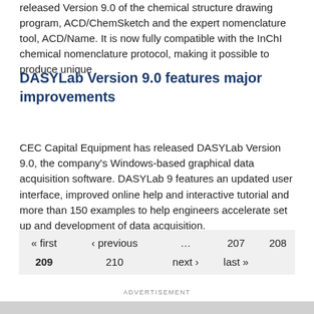released Version 9.0 of the chemical structure drawing program, ACD/ChemSketch and the expert nomenclature tool, ACD/Name. It is now fully compatible with the InChI chemical nomenclature protocol, making it possible to produce unique
DASYLab Version 9.0 features major improvements
CEC Capital Equipment has released DASYLab Version 9.0, the company's Windows-based graphical data acquisition software. DASYLab 9 features an updated user interface, improved online help and interactive tutorial and more than 150 examples to help engineers accelerate set up and development of data acquisition.
| « first | ‹ previous | … | 207 | 208 |
| 209 | 210 | next › | last » |  |
ADVERTISEMENT